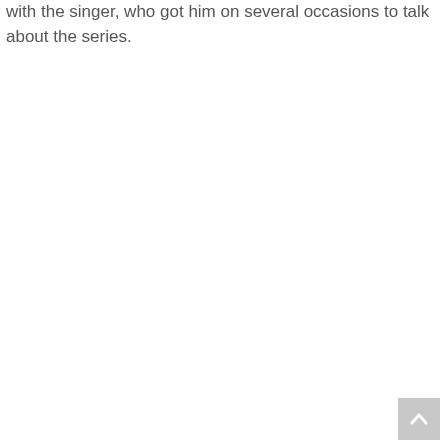with the singer, who got him on several occasions to talk about the series.
[Figure (other): Scroll-to-top button in bottom-right corner, a grey square with an upward-pointing chevron arrow.]